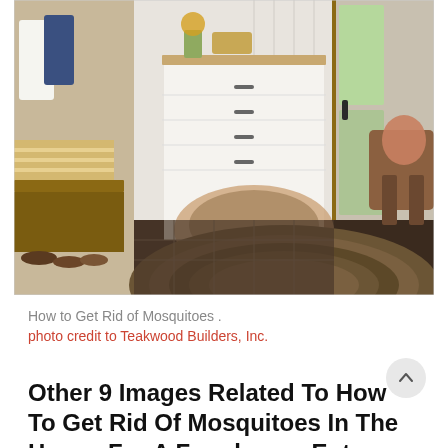[Figure (photo): Interior farmhouse entryway/mudroom with white built-in drawers and cabinets, wooden bench with shoes underneath, braided oval rug, coat hooks with jackets, and glass panel door with outdoor view]
How to Get Rid of Mosquitoes .
photo credit to Teakwood Builders, Inc.
Other 9 Images Related To How To Get Rid Of Mosquitoes In The House For A Farmhouse Entry With A Barn And Farmhouse Vernacular By Teakwood Builders, Inc.